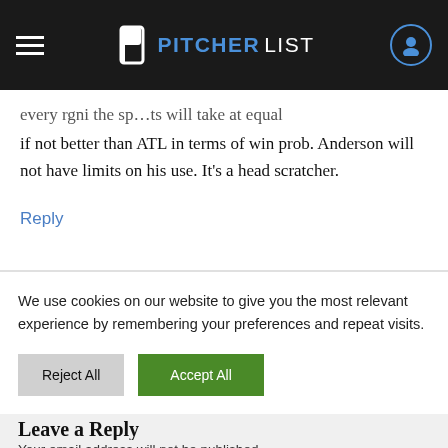PITCHERLIST
if not better than ATL in terms of win prob. Anderson will not have limits on his use. It’s a head scratcher.
Reply
Leave a Reply
Your email address will not be published.
We use cookies on our website to give you the most relevant experience by remembering your preferences and repeat visits.